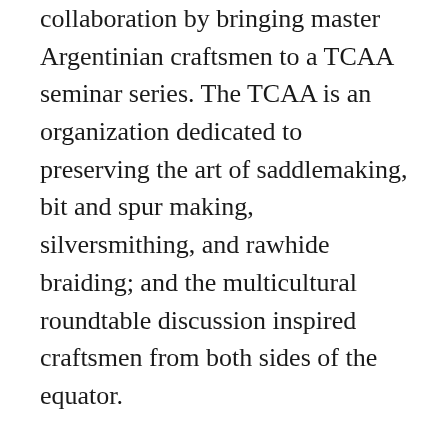collaboration by bringing master Argentinian craftsmen to a TCAA seminar series. The TCAA is an organization dedicated to preserving the art of saddlemaking, bit and spur making, silversmithing, and rawhide braiding; and the multicultural roundtable discussion inspired craftsmen from both sides of the equator.
Learning opportunities like this are just one of the myriad reasons Hensley—a TCAA member since 2001—strongly supports the organization.
“Some of the knowledge and practices of the old Western craftsmen were on the verge of